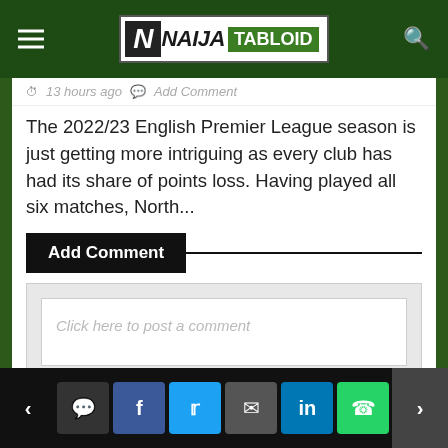Naija Tabloid
13 hours ago   Add Comment
The 2022/23 English Premier League season is just getting more intriguing as every club has had its share of points loss. Having played all six matches, North...
Add Comment
Click here to post a comment
< [comment] [facebook] [twitter] [email] [linkedin] [whatsapp] >